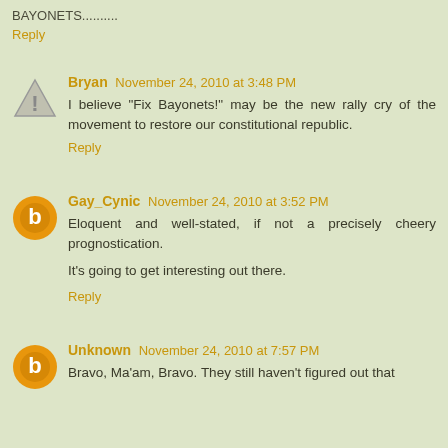BAYONETS..........
Reply
Bryan November 24, 2010 at 3:48 PM
I believe "Fix Bayonets!" may be the new rally cry of the movement to restore our constitutional republic.
Reply
Gay_Cynic November 24, 2010 at 3:52 PM
Eloquent and well-stated, if not a precisely cheery prognostication.

It's going to get interesting out there.
Reply
Unknown November 24, 2010 at 7:57 PM
Bravo, Ma'am, Bravo. They still haven't figured out that